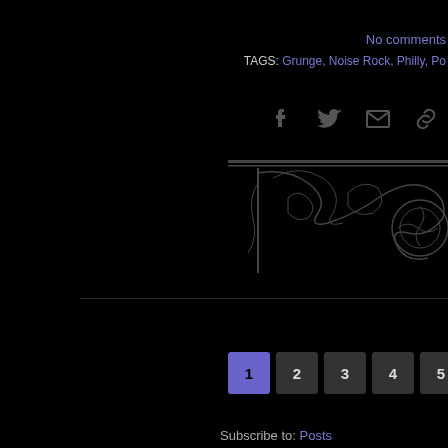No comments
TAGS: Grunge, Noise Rock, Philly, Po
[Figure (illustration): Social share icons: Facebook, Twitter, Email/envelope, Link/chain]
[Figure (illustration): Ornate decorative Victorian-style wrought iron scrollwork divider graphic]
1 2 3 4 5 6 7 (pagination buttons, page 1 active)
Subscribe to: Posts